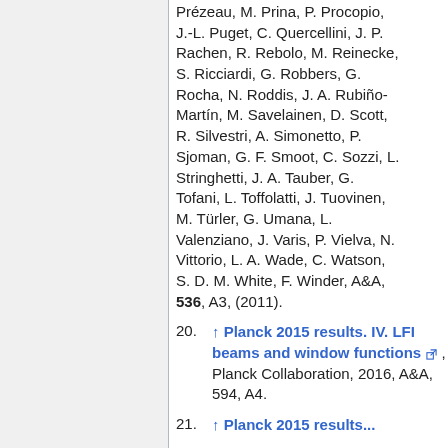Prézeau, M. Prina, P. Procopio, J.-L. Puget, C. Quercellini, J. P. Rachen, R. Rebolo, M. Reinecke, S. Ricciardi, G. Robbers, G. Rocha, N. Roddis, J. A. Rubiño-Martín, M. Savelainen, D. Scott, R. Silvestri, A. Simonetto, P. Sjoman, G. F. Smoot, C. Sozzi, L. Stringhetti, J. A. Tauber, G. Tofani, L. Toffolatti, J. Tuovinen, M. Türler, G. Umana, L. Valenziano, J. Varis, P. Vielva, N. Vittorio, L. A. Wade, C. Watson, S. D. M. White, F. Winder, A&A, 536, A3, (2011).
20. ↑ Planck 2015 results. IV. LFI beams and window functions, Planck Collaboration, 2016, A&A, 594, A4.
21. ↑ Planck 2015 results...